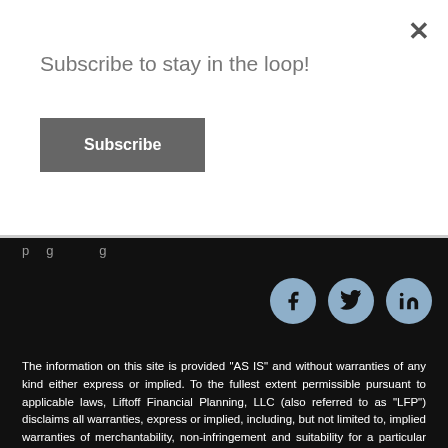Subscribe to stay in the loop!
Subscribe
×
[Figure (other): Social media icons: Facebook, Twitter, LinkedIn — circular steel-blue buttons with black icons on dark background]
The information on this site is provided "AS IS" and without warranties of any kind either express or implied. To the fullest extent permissible pursuant to applicable laws, Liftoff Financial Planning, LLC (also referred to as "LFP") disclaims all warranties, express or implied, including, but not limited to, implied warranties of merchantability, non-infringement and suitability for a particular purpose. LFP does not warrant that the information will be free from error. None of the information provided on this website is intended as investment, tax, accounting or legal advice,  as an offer or solicitation of an offer to buy or sell, or as an endorsement of any company, security, fund, or other securities or non-securities offering. The information should not be relied upon for purposes of transacting securities or other investments. Your use of the information is at your sole risk. Under no circumstances shall LFP be liable for any direct, indirect, special or